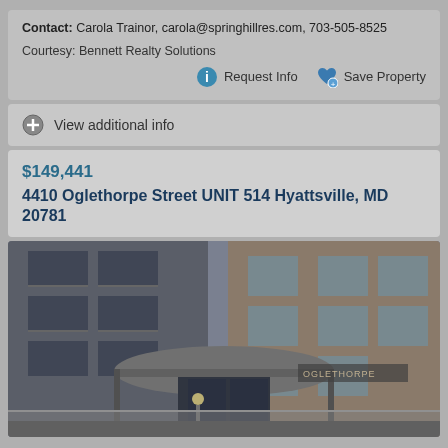Contact: Carola Trainor, carola@springhillres.com, 703-505-8525
Courtesy: Bennett Realty Solutions
Request Info
Save Property
View additional info
$149,441
4410 Oglethorpe Street UNIT 514 Hyattsville, MD 20781
[Figure (photo): Exterior photo of a multi-story brick apartment building with balconies, showing the entrance canopy and a sign reading OGLETHORPE]